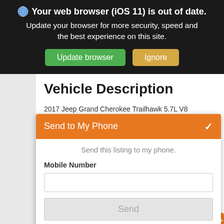[Figure (screenshot): Browser warning banner: 'Your web browser (iOS 11) is out of date. Update your browser for more security, speed and the best experience on this site.' with 'Update browser' (green) and 'Ignore' (tan) buttons.]
Vehicle Description
2017 Jeep Grand Cherokee Trailhawk 5.7L V8 HEMI 8-Speed Automatic 4WD Granite Crystal Metallic Cl... AutoPROV... No Haggle... a RIGORO... SERVICED... your used... YOUR TES... Valley's lar... vehicles ta... is YOU! Pr... clients is a... review ou... get an ide...
[Figure (screenshot): Send to My Phone modal overlay with orange header, subtitle 'Send this listing to my phone.', Mobile Number label, text input field, and greyed-out Send button.]